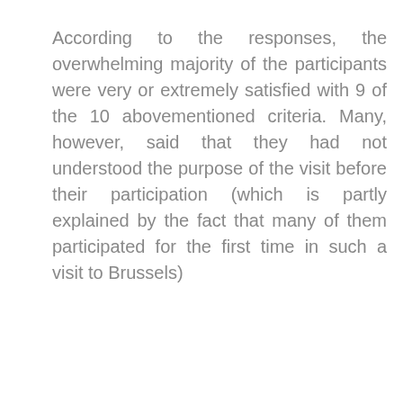According to the responses, the overwhelming majority of the participants were very or extremely satisfied with 9 of the 10 abovementioned criteria. Many, however, said that they had not understood the purpose of the visit before their participation (which is partly explained by the fact that many of them participated for the first time in such a visit to Brussels)
We use cookies on our website to give you the most relevant experience by remembering your preferences and repeat visits. By clicking “Accept All”, you consent to the use of ALL the cookies. However, you may visit "Cookie Settings" to provide a controlled consent.
Cookie Settings
Accept All
Reject All
Read More